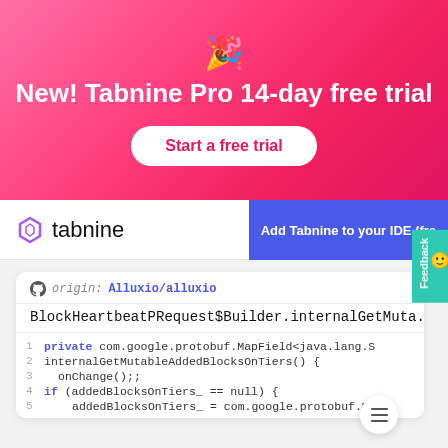[Figure (screenshot): Tabnine promotional banner with gradient pink/red background, party popper emoji, title text 'New! Tabnine Pro 14-day free trial', and a 'Start a free trial' button]
New! Tabnine Pro 14-day free trial
Start a free trial
[Figure (screenshot): Tabnine website navigation bar with logo on left and 'Add Tabnine to your IDE (fre...' blue button on right, plus teal Feedback tab on far right]
tabnine
Add Tabnine to your IDE (fre
Feedback
origin: Alluxio/alluxio
BlockHeartbeatPRequest$Builder.internalGetMuta...
private com.google.protobuf.MapField<java.lang.S
internalGetMutableAddedBlocksOnTiers() {
onChange();;
if (addedBlocksOnTiers_ == null) {
addedBlocksOnTiers_ = com.google.protobuf.MapF